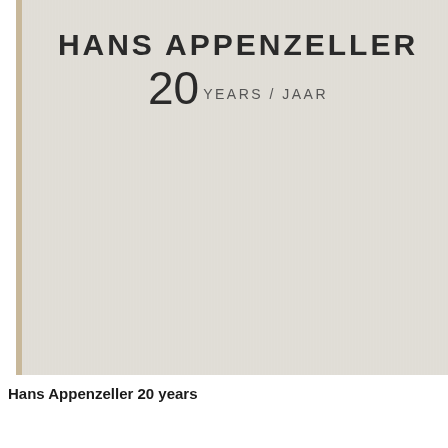[Figure (photo): Cover of a book titled 'Hans Appenzeller 20 Years / Jaar'. The cover has a light beige/grey textured surface with the title text printed in dark letters at the top. A narrow tan/wood-colored spine is visible on the left edge.]
Hans Appenzeller 20 years